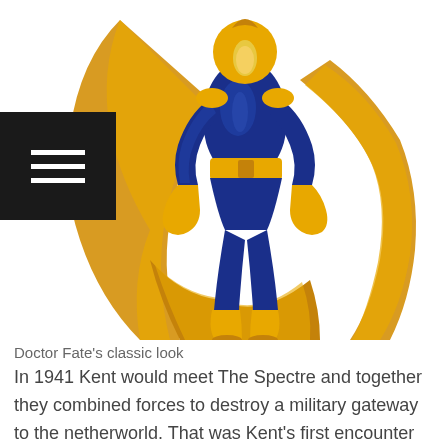[Figure (illustration): Doctor Fate comic book illustration showing a superhero in a blue bodysuit with gold/yellow cape, gloves, and boots, flying or floating against a white background. The character holds the flowing golden cape dramatically.]
Doctor Fate's classic look
In 1941 Kent would meet The Spectre and together they combined forces to destroy a military gateway to the netherworld. That was Kent's first encounter with a hero of his time, the two would later go on to